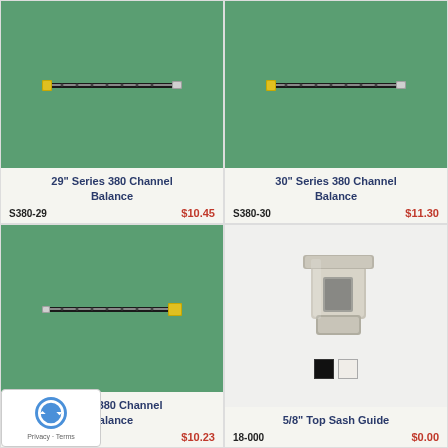[Figure (photo): 29 inch Series 380 Channel Balance on green background]
29" Series 380 Channel Balance
S380-29   $10.45
[Figure (photo): 30 inch Series 380 Channel Balance on green background]
30" Series 380 Channel Balance
S380-30   $11.30
[Figure (photo): Series 380 Channel Balance (27 inch) on green background, partially obscured by privacy badge]
Series 380 Channel Balance
S380-27   $10.23
[Figure (photo): 5/8 inch Top Sash Guide plastic part on white background, with black and white color swatches]
5/8" Top Sash Guide
18-000   $0.00